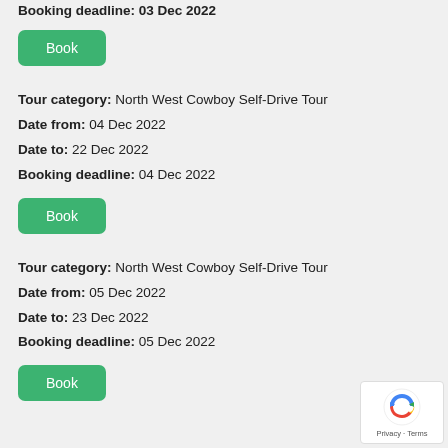Booking deadline: 03 Dec 2022
Book
Tour category: North West Cowboy Self-Drive Tour
Date from: 04 Dec 2022
Date to: 22 Dec 2022
Booking deadline: 04 Dec 2022
Book
Tour category: North West Cowboy Self-Drive Tour
Date from: 05 Dec 2022
Date to: 23 Dec 2022
Booking deadline: 05 Dec 2022
Book